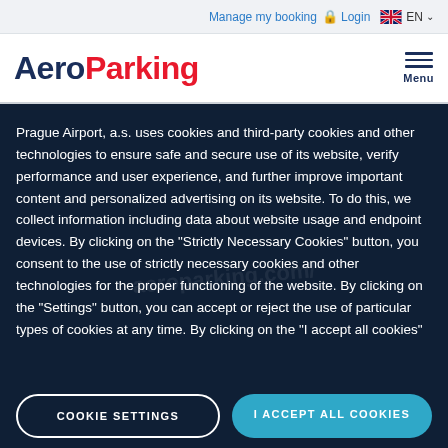Manage my booking  Login  EN
AeroParking
Prague Airport, a.s. uses cookies and third-party cookies and other technologies to ensure safe and secure use of its website, verify performance and user experience, and further improve important content and personalized advertising on its website. To do this, we collect information including data about website usage and endpoint devices. By clicking on the "Strictly Necessary Cookies" button, you consent to the use of strictly necessary cookies and other technologies for the proper functioning of the website. By clicking on the "Settings" button, you can accept or reject the use of particular types of cookies at any time. By clicking on the "I accept all cookies"
COOKIE SETTINGS
I ACCEPT ALL COOKIES